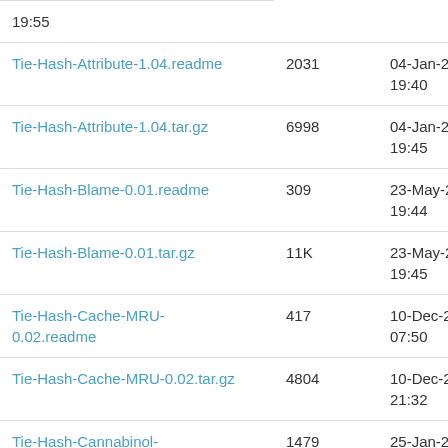| Name | Size | Date |
| --- | --- | --- |
| (partial) 19:55 |  |  |
| Tie-Hash-Attribute-1.04.readme | 2031 | 04-Jan-2017 19:40 |
| Tie-Hash-Attribute-1.04.tar.gz | 6998 | 04-Jan-2017 19:45 |
| Tie-Hash-Blame-0.01.readme | 309 | 23-May-2012 19:44 |
| Tie-Hash-Blame-0.01.tar.gz | 11K | 23-May-2012 19:45 |
| Tie-Hash-Cache-MRU-0.02.readme | 417 | 10-Dec-2004 07:50 |
| Tie-Hash-Cache-MRU-0.02.tar.gz | 4804 | 10-Dec-2004 21:32 |
| Tie-Hash-Cannabinol-v1.12.2.readme | 1479 | 25-Jan-2021 10:09 |
| Tie-Hash-Cannabinol-v1.12.2.tar.gz | 6388 | 25-Jan-2021 10:10 |
| Tie-Hash-Check-0.01.readme | 1391 | 27-Nov-2014 19:00 |